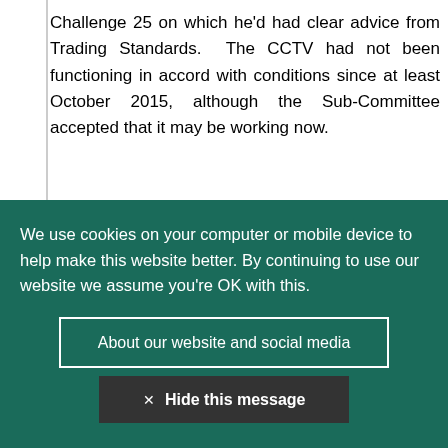Challenge 25 on which he'd had clear advice from Trading Standards. The CCTV had not been functioning in accord with conditions since at least October 2015, although the Sub-Committee accepted that it may be working now.
We use cookies on your computer or mobile device to help make this website better. By continuing to use our website we assume you're OK with this.
About our website and social media
✕ Hide this message